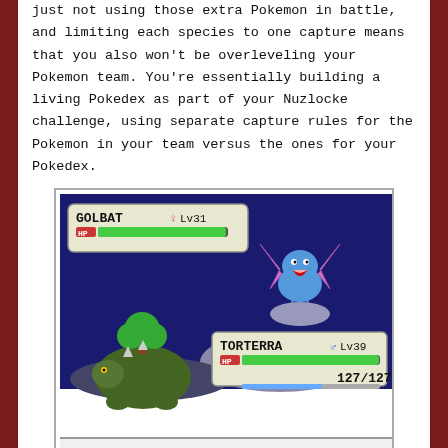just not using those extra Pokemon in battle, and limiting each species to one capture means that you also won't be overleveling your Pokemon team. You're essentially building a living Pokedex as part of your Nuzlocke challenge, using separate capture rules for the Pokemon in your team versus the ones for your Pokedex.
[Figure (screenshot): Pokemon game battle screenshot showing GOLBAT (female, Lv31) vs TORTERRA (male, Lv39) with HP bar showing 127/127. Dialog box reads 'TORTERRA is confused!']